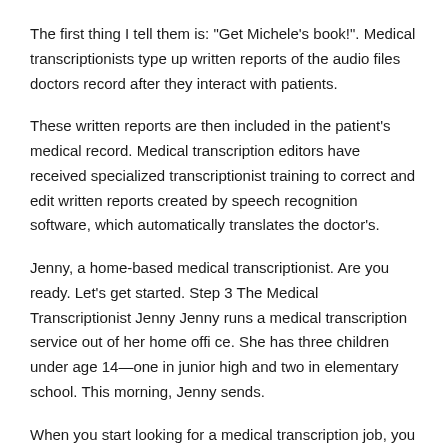The first thing I tell them is: "Get Michele's book!". Medical transcriptionists type up written reports of the audio files doctors record after they interact with patients.
These written reports are then included in the patient's medical record. Medical transcription editors have received specialized transcriptionist training to correct and edit written reports created by speech recognition software, which automatically translates the doctor's.
Jenny, a home-based medical transcriptionist. Are you ready. Let's get started. Step 3 The Medical Transcriptionist Jenny Jenny runs a medical transcription service out of her home offi ce. She has three children under age 14—one in junior high and two in elementary school. This morning, Jenny sends.
When you start looking for a medical transcription job, you will likely be faced with some testing during the application process. Understanding how the tests work and what they're really testing is key for you to master these assessments.